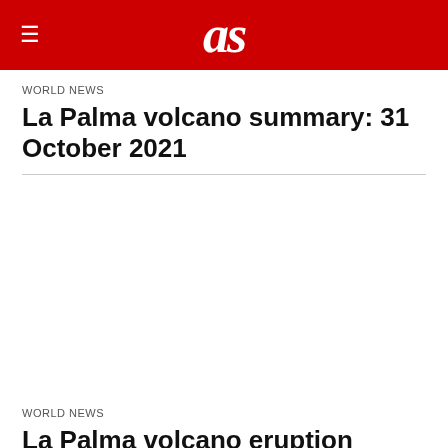as
WORLD NEWS
La Palma volcano summary: 31 October 2021
[Figure (photo): Image area (blank/white space representing a photo placeholder)]
WORLD NEWS
La Palma volcano eruption summary: 20